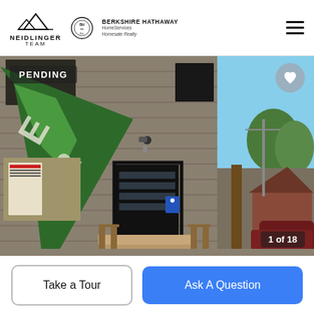[Figure (logo): Neidlinger Team logo with mountain graphic and Berkshire Hathaway HomeServices seal]
[Figure (photo): Exterior photo of a commercial building with gray stone/block siding, a green banner/flag with letters, a black glass front door with wooden steps and handrails, a security camera, a handicap accessible sign, and a vehicle parked on the right. A wooden awning post is visible on the right side. PENDING status badge in upper left, heart/favorite button in upper right, and '1 of 18' photo counter in lower right.]
PENDING
1 of 18
Take a Tour
Ask A Question